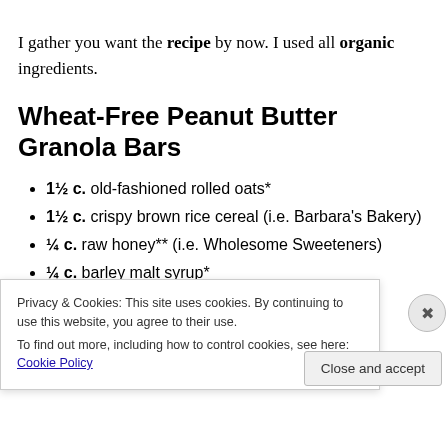I gather you want the recipe by now. I used all organic ingredients.
Wheat-Free Peanut Butter Granola Bars
1½ c. old-fashioned rolled oats*
1½ c. crispy brown rice cereal (i.e. Barbara's Bakery)
¼ c. raw honey** (i.e. Wholesome Sweeteners)
¼ c. barley malt syrup*
¾ c. raisins
Privacy & Cookies: This site uses cookies. By continuing to use this website, you agree to their use. To find out more, including how to control cookies, see here: Cookie Policy